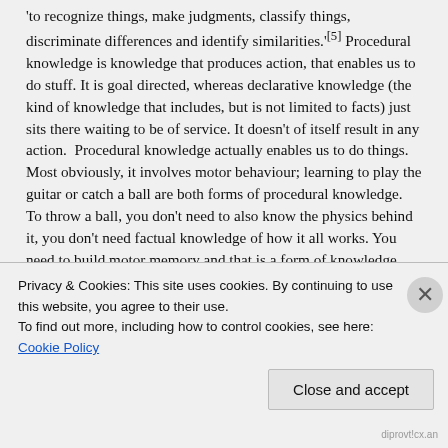'to recognize things, make judgments, classify things, discriminate differences and identify similarities.'[5] Procedural knowledge is knowledge that produces action, that enables us to do stuff. It is goal directed, whereas declarative knowledge (the kind of knowledge that includes, but is not limited to facts) just sits there waiting to be of service. It doesn't of itself result in any action.  Procedural knowledge actually enables us to do things. Most obviously, it involves motor behaviour; learning to play the guitar or catch a ball are both forms of procedural knowledge.  To throw a ball, you don't need to also know the physics behind it, you don't need factual knowledge of how it all works. You need to build motor memory and that is a form of knowledge learnt through paying attention and repeated practice. But procedural knowledge isn't only about muscle movement, it
Privacy & Cookies: This site uses cookies. By continuing to use this website, you agree to their use.
To find out more, including how to control cookies, see here: Cookie Policy
Close and accept